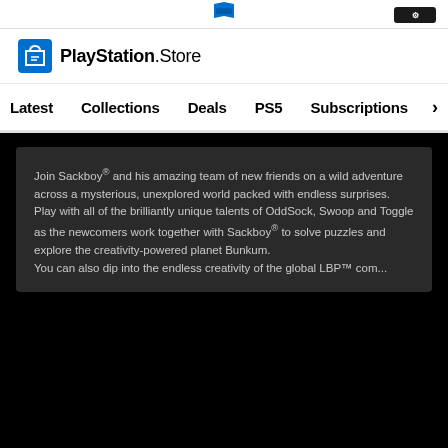PlayStation Store
Latest   Collections   Deals   PS5   Subscriptions >
Join Sackboy® and his amazing team of new friends on a wild adventure across a mysterious, unexplored world packed with endless surprises.
Play with all of the brilliantly unique talents of OddSock, Swoop and Toggle as the newcomers work together with Sackboy® to solve puzzles and explore the creativity-powered planet Bunkum.
You can also dip into the endless creativity of the global LBP™...